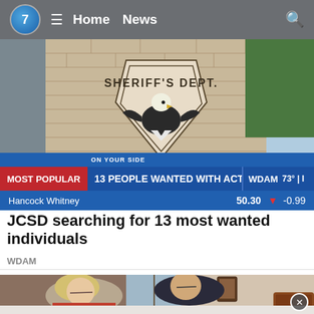7  ≡  Home  News  🔍
[Figure (photo): Sheriff's Dept brick wall with eagle emblem and shield logo]
[Figure (screenshot): News ticker bar reading ON YOUR SIDE / 13 PEOPLE WANTED WITH ACTIVE BENCH WARRANTS / WDAM / MOST POPULAR / Hancock Whitney 50.30 ▼ -0.99]
JCSD searching for 13 most wanted individuals
WDAM
[Figure (photo): Two older adults (woman with blonde hair and glasses, man in dark polo) leaning over a bed in a bedroom]